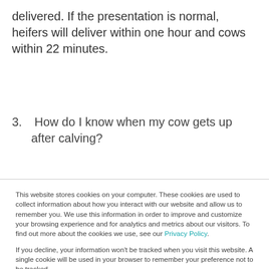delivered. If the presentation is normal, heifers will deliver within one hour and cows within 22 minutes.
3. How do I know when my cow gets up after calving?
This website stores cookies on your computer. These cookies are used to collect information about how you interact with our website and allow us to remember you. We use this information in order to improve and customize your browsing experience and for analytics and metrics about our visitors. To find out more about the cookies we use, see our Privacy Policy.
If you decline, your information won’t be tracked when you visit this website. A single cookie will be used in your browser to remember your preference not to be tracked.
Accept  Decline